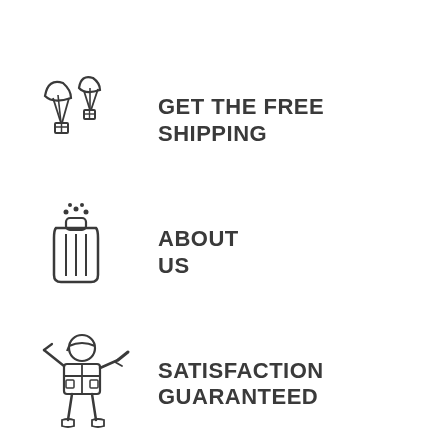[Figure (illustration): Two parachutes delivering packages icon]
GET THE FREE SHIPPING
[Figure (illustration): Military dog tag / luggage bag icon]
ABOUT US
[Figure (illustration): Soldier saluting icon]
SATISFACTION GUARANTEED